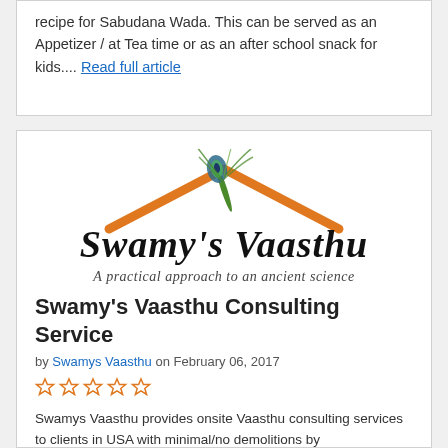recipe for Sabudana Wada. This can be served as an Appetizer / at Tea time or as an after school snack for kids.... Read full article
[Figure (logo): Swamy's Vaasthu logo: orange house roof with peacock feather, text 'Swamy's Vaasthu' in black cursive, tagline 'A practical approach to an ancient science']
Swamy's Vaasthu Consulting Service
by Swamys Vaasthu on February 06, 2017
☆☆☆☆☆
Swamys Vaasthu provides onsite Vaasthu consulting services to clients in USA with minimal/no demolitions by